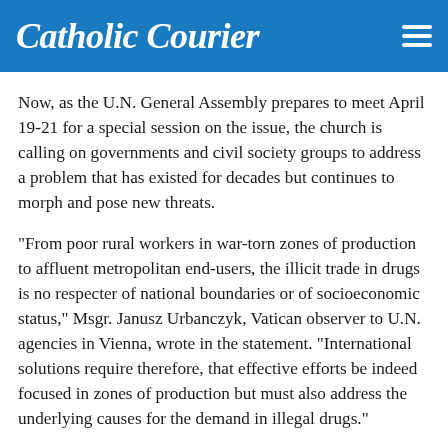Catholic Courier
Now, as the U.N. General Assembly prepares to meet April 19-21 for a special session on the issue, the church is calling on governments and civil society groups to address a problem that has existed for decades but continues to morph and pose new threats.
"From poor rural workers in war-torn zones of production to affluent metropolitan end-users, the illicit trade in drugs is no respecter of national boundaries or of socioeconomic status," Msgr. Janusz Urbanczyk, Vatican observer to U.N. agencies in Vienna, wrote in the statement. "International solutions require therefore, that effective efforts be indeed focused in zones of production but must also address the underlying causes for the demand in illegal drugs."
The Vatican position puts it at the center of a tense policy that will play out at the highest levels of the United Nations.